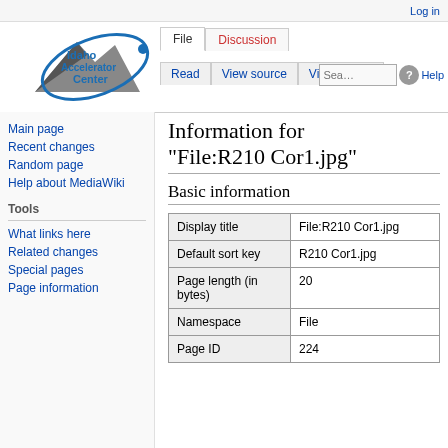Log in
[Figure (logo): Idaho Accelerator Center logo with mountain peak and orbital ring graphic]
File | Discussion | View source | View history | Search | Help
Information for "File:R210 Cor1.jpg"
Main page
Recent changes
Random page
Help about MediaWiki
Tools
What links here
Related changes
Special pages
Page information
Basic information
|  |  |
| --- | --- |
| Display title | File:R210 Cor1.jpg |
| Default sort key | R210 Cor1.jpg |
| Page length (in bytes) | 20 |
| Namespace | File |
| Page ID | 224 |